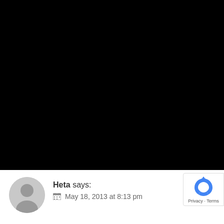[Figure (photo): Large black area taking up the top portion of the page, representing a dark/black image or video area]
[Figure (illustration): Gray circular avatar/profile picture placeholder showing a generic person silhouette]
Heta says:
May 18, 2013 at 8:13 pm
[Figure (logo): Google reCAPTCHA badge with blue arrow icon and text 'Privacy - Terms']